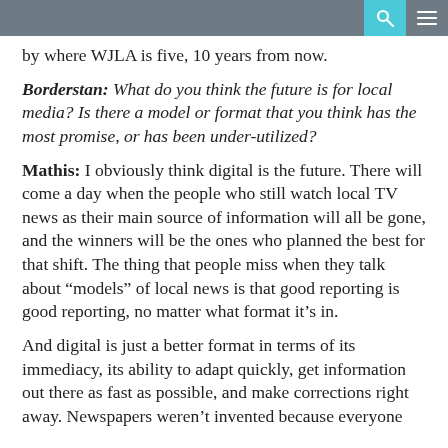[navigation bar with search and menu icons]
by where WJLA is five, 10 years from now.
Borderstan: What do you think the future is for local media? Is there a model or format that you think has the most promise, or has been under-utilized?
Mathis: I obviously think digital is the future. There will come a day when the people who still watch local TV news as their main source of information will all be gone, and the winners will be the ones who planned the best for that shift. The thing that people miss when they talk about “models” of local news is that good reporting is good reporting, no matter what format it’s in.
And digital is just a better format in terms of its immediacy, its ability to adapt quickly, get information out there as fast as possible, and make corrections right away. Newspapers weren’t invented because everyone